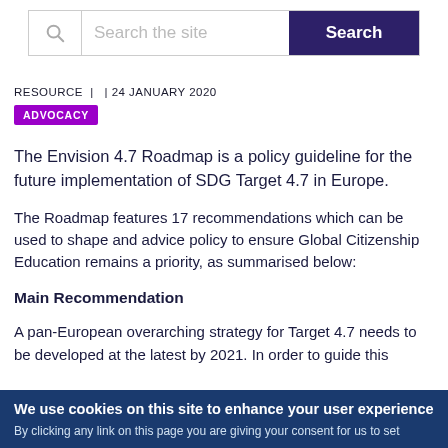[Figure (other): Search bar with magnifying glass icon, placeholder text 'Search the site', and a dark navy Search button on the right]
RESOURCE  |   | 24 JANUARY 2020
ADVOCACY
The Envision 4.7 Roadmap is a policy guideline for the future implementation of SDG Target 4.7 in Europe.
The Roadmap features 17 recommendations which can be used to shape and advice policy to ensure Global Citizenship Education remains a priority, as summarised below:
Main Recommendation
A pan-European overarching strategy for Target 4.7 needs to be developed at the latest by 2021. In order to guide this
We use cookies on this site to enhance your user experience
By clicking any link on this page you are giving your consent for us to set